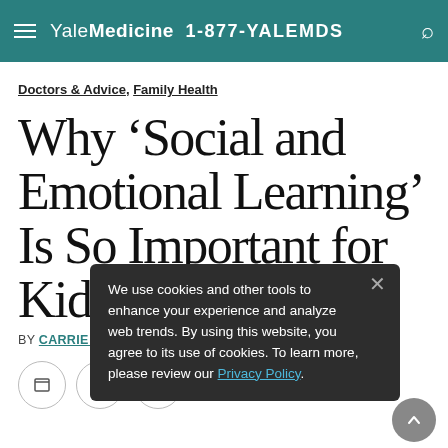Yale Medicine  1-877-YALEMDS
Doctors & Advice, Family Health
Why ‘Social and Emotional Learning’ Is So Important for Kids Right Now
BY CARRIE MACMILLAN  NOVEMBER 6, 2020
We use cookies and other tools to enhance your experience and analyze web trends. By using this website, you agree to its use of cookies. To learn more, please review our Privacy Policy.